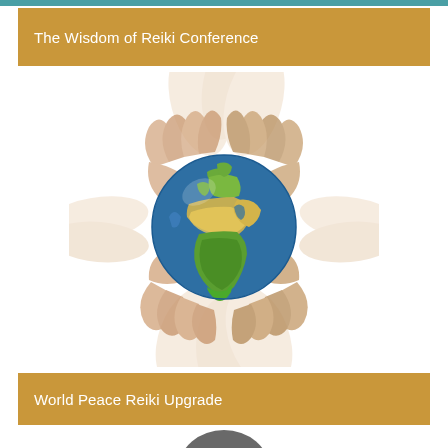The Wisdom of Reiki Conference
[Figure (illustration): Multiple pairs of hands arranged in a circle cradling a globe showing Africa and Europe, on a white background]
World Peace Reiki Upgrade
[Figure (illustration): Partial view of a dark circular object at the bottom of the page]